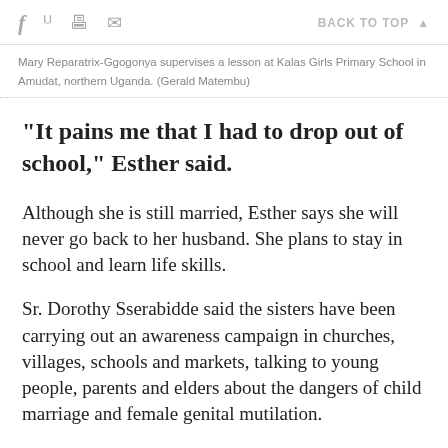f  [twitter]  [print]  [mail]   BACK TO TOP ▲
Mary Reparatrix-Ggogonya supervises a lesson at Kalas Girls Primary School in Amudat, northern Uganda. (Gerald Matembu)
"It pains me that I had to drop out of school," Esther said.
Although she is still married, Esther says she will never go back to her husband. She plans to stay in school and learn life skills.
Sr. Dorothy Sserabidde said the sisters have been carrying out an awareness campaign in churches, villages, schools and markets, talking to young people, parents and elders about the dangers of child marriage and female genital mutilation.